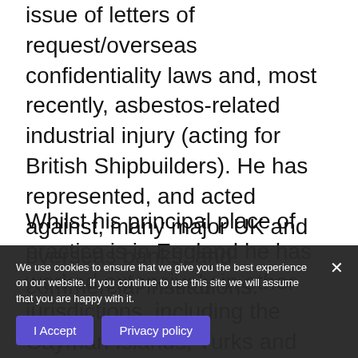issue of letters of request/overseas confidentiality laws and, most recently, asbestos-related industrial injury (acting for British Shipbuilders). He has represented, and acted against, many major UK and overseas banks, and commercial institutions.
Whilst his principal place of practice is in England he has worked extensively in other jurisdictions, including the Cayman Islands, Turks and Caicos Islands, Bahamas, Spain, Gibraltar, Tonga, Hong Kong, Singapore, USA,
Sri Lanka, Channel Islands, Ireland and Australia. He has been admitted to local Bars in several of these jurisdictions, either permanently or for particular matters. He has been specially admitted on many occasions
We use cookies to ensure that we give you the best experience on our website. If you continue to use this site we will assume that you are happy with it.